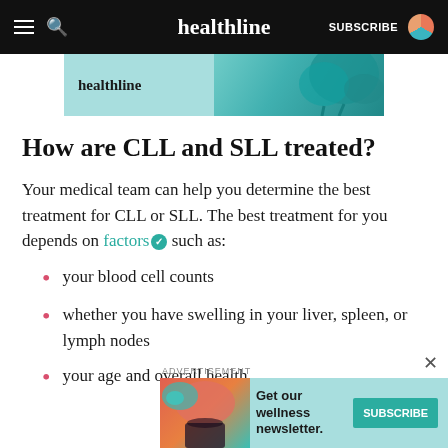healthline — SUBSCRIBE
[Figure (illustration): Healthline advertisement banner with teal background and broccoli illustration]
How are CLL and SLL treated?
Your medical team can help you determine the best treatment for CLL or SLL. The best treatment for you depends on factors ✓ such as:
your blood cell counts
whether you have swelling in your liver, spleen, or lymph nodes
your age and overall health
[Figure (illustration): Bottom advertisement banner: Get our wellness newsletter. Subscribe button. Woman illustration on teal background.]